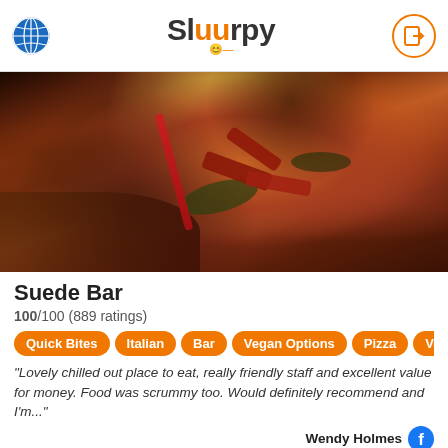Sluurpy
[Figure (photo): Close-up photo of a pizza with toppings including meat and greens on a wooden surface]
Suede Bar
100/100 (889 ratings)
Quick Bites | Italian | Bar | Vegan Options | Pizza | Vegeta...
"Lovely chilled out place to eat, really friendly staff and excellent value for money. Food was scrummy too. Would definitely recommend and I'm..."
Wendy Holmes
[Figure (photo): Partial photo of food items visible at bottom of page]